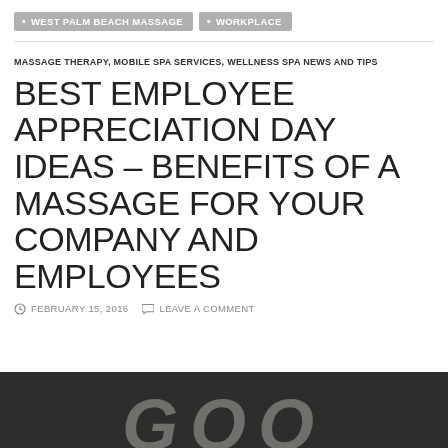WEST PALM BEACH MASSAGE  •  WORKPLACE
MASSAGE THERAPY, MOBILE SPA SERVICES, WELLNESS SPA NEWS AND TIPS
BEST EMPLOYEE APPRECIATION DAY IDEAS – BENEFITS OF A MASSAGE FOR YOUR COMPANY AND EMPLOYEES
FEBRUARY 15, 2016  LEAVE A COMMENT
[Figure (photo): Dark chalkboard background with white chalk text partially visible at the bottom of the image]